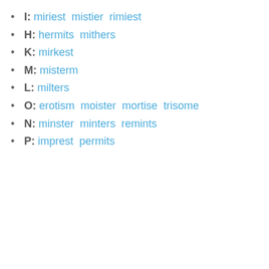I: miriest  mistier  rimiest
H: hermits  mithers
K: mirkest
M: misterm
L: milters
O: erotism  moister  mortise  trisome
N: minster  minters  remints
P: imprest  permits